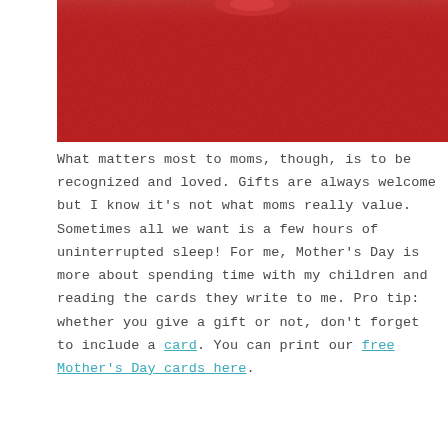[Figure (photo): Photo of a red textured background with a small object partially visible at the top center, appearing to be a Mother's Day themed image.]
What matters most to moms, though, is to be recognized and loved. Gifts are always welcome but I know it's not what moms really value. Sometimes all we want is a few hours of uninterrupted sleep! For me, Mother's Day is more about spending time with my children and reading the cards they write to me. Pro tip: whether you give a gift or not, don't forget to include a card. You can print our free Mother's Day cards here.